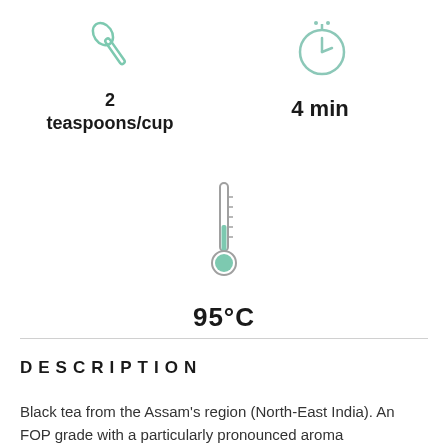[Figure (illustration): Green spoon icon]
2
teaspoons/cup
[Figure (illustration): Green timer/stopwatch icon]
4 min
[Figure (illustration): Green thermometer icon]
95°C
DESCRIPTION
Black tea from the Assam's region (North-East India). An FOP grade with a particularly pronounced aroma